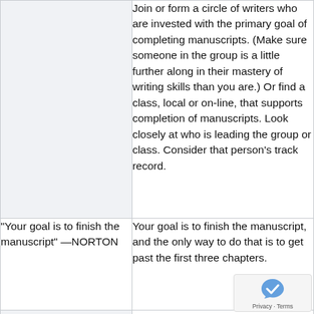Join or form a circle of writers who are invested with the primary goal of completing manuscripts. (Make sure someone in the group is a little further along in their mastery of writing skills than you are.) Or find a class, local or on-line, that supports completion of manuscripts. Look closely at who is leading the group or class. Consider that person's track record.
"Your goal is to finish the manuscript" —NORTON
Your goal is to finish the manuscript, and the only way to do that is to get past the first three chapters.